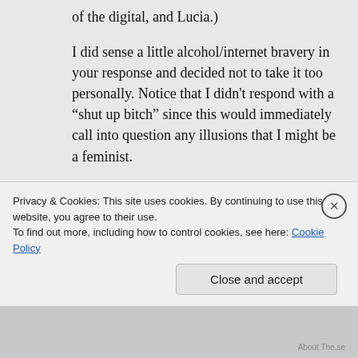of the digital, and Lucia.)
I did sense a little alcohol/internet bravery in your response and decided not to take it too personally. Notice that I didn't respond with a “shut up bitch” since this would immediately call into question any illusions that I might be a feminist.
It’s too bad that I botched the post. As you can see from the other responses, it’s a worthwhile topic even when poorly
Privacy & Cookies: This site uses cookies. By continuing to use this website, you agree to their use.
To find out more, including how to control cookies, see here: Cookie Policy
Close and accept